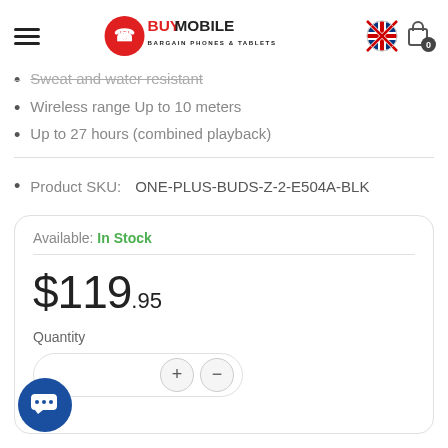BUY MOBILE - BARGAIN PHONES & TABLETS
Sweat and water resistant
Wireless range Up to 10 meters
Up to 27 hours (combined playback)
Product SKU:   ONE-PLUS-BUDS-Z-2-E504A-BLK
Available: In Stock
$119.95
Quantity
Color